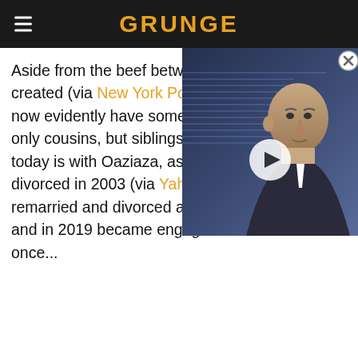GRUNGE
[Figure (photo): Video thumbnail showing a bald man in a suit with a play button overlay, with a close (X) button in the upper right corner]
Aside from the beef between [video overlay] created (via New York Post), the two brothers now evidently have some children who are not only cousins, but siblings too. Neither brother today is with Oaziaza, as she and Jermaine divorced in 2003 (via Yahoo). Jermaine has also remarried and divorced after his marriage to her, and in 2019 became engaged to tie the knot once...
[Figure (infographic): Kabbage Funding advertisement banner with green logo, headline 'Get Help Growing Your Business', and green 'Apply Now' button]